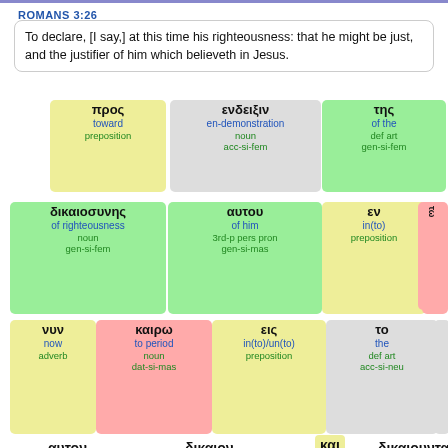ROMANS 3:26
To declare, [I say,] at this time his righteousness: that he might be just, and the justifier of him which believeth in Jesus.
[Figure (infographic): Greek word analysis cards for Romans 3:26 showing Greek words with English translations and grammatical tags. Row 1: προς (toward, preposition), ενδειξιν (en-demonstration, noun acc-si-fem), της (of the, def art gen-si-fem). Row 2: δικαιοσυνης (of righteousness, noun gen-si-fem), αυτου (of him, 3rd-p pers pron gen-si-mas), εν (in(to), preposition), τω (to the, def art dat-si-mas). Row 3: νυν (now, adverb), καιρω (to period, noun dat-si-mas), εις (in(to)/un(to), preposition), το (the, def art acc-si-neu), ειναι (to be, verb pres-act-inf). Row 4 partial: αυτον, δικαιον, και, δικαιουντα.]